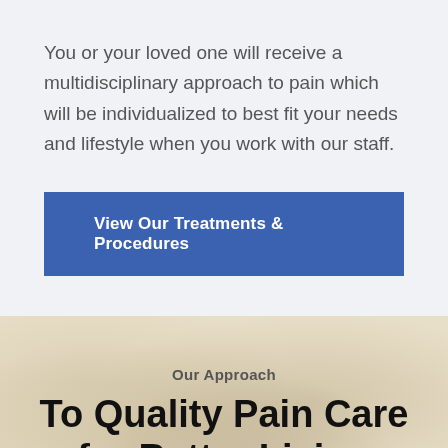You or your loved one will receive a multidisciplinary approach to pain which will be individualized to best fit your needs and lifestyle when you work with our staff.
[Figure (other): Blue button labeled 'View Our Treatments & Procedures']
Our Approach
To Quality Pain Care for Better Living